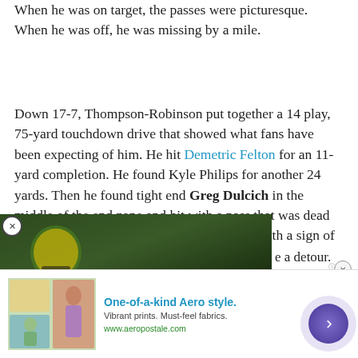When he was on target, the passes were picturesque. When he was off, he was missing by a mile.
Down 17-7, Thompson-Robinson put together a 14 play, 75-yard touchdown drive that showed what fans have been expecting of him. He hit Demetric Felton for an 11-yard completion. He found Kyle Philips for another 24 yards. Then he found tight end Greg Dulcich in the middle of the end zone and hit with a pass that was dead on the money. UCLA was down 17-14, but with a sign of life.
[Figure (other): Embedded video player showing a Green Bay Packers player (Davante Adams) with overlay text about Las Vegas Raiders wide receiver Davante Adams nearing a decade in the NFL.]
a detour. The two teams ... SDSU came back with 31-... al and the 20-14 lead. The
[Figure (other): Advertisement for Aeropostale: One-of-a-kind Aero style. Vibrant prints. Must-feel fabrics. www.aeropostale.com]